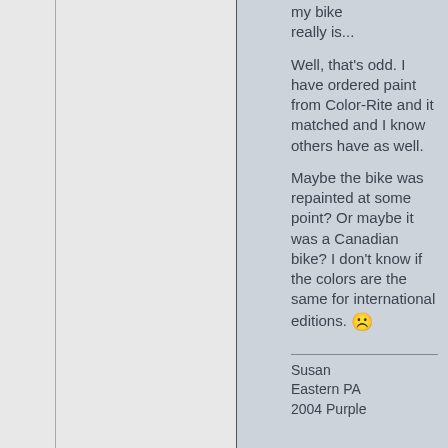my bike really is...
Well, that's odd. I have ordered paint from Color-Rite and it matched and I know others have as well.
Maybe the bike was repainted at some point? Or maybe it was a Canadian bike? I don't know if the colors are the same for international editions. ☹
Susan
Eastern PA
2004 Purple